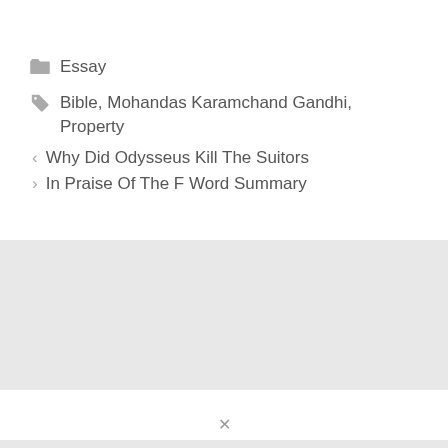Essay
Bible, Mohandas Karamchand Gandhi, Property
Why Did Odysseus Kill The Suitors
In Praise Of The F Word Summary
[Figure (other): Light gray background block (advertisement or sidebar area)]